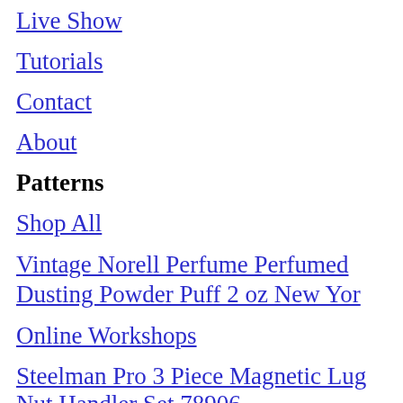Live Show
Tutorials
Contact
About
Patterns
Shop All
Vintage Norell Perfume Perfumed Dusting Powder Puff 2 oz New Yor
Online Workshops
Steelman Pro 3 Piece Magnetic Lug Nut Handler Set 78906
A0 & Projector Files
SVG Files
Translations